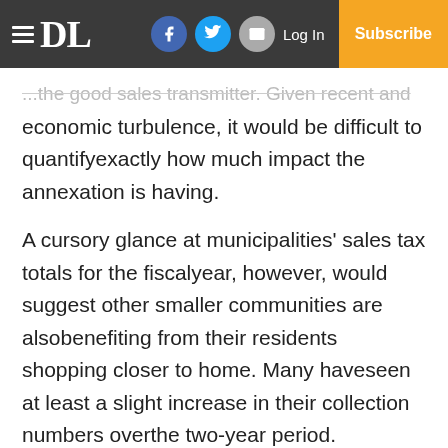DL | Log In | Subscribe
...the good sales transmitter. Given recent economic turbulence, it would be difficult to quantifyexactly how much impact the annexation is having.
A cursory glance at municipalities' sales tax totals for the fiscalyear, however, would suggest other smaller communities are alsobenefiting from their residents shopping closer to home. Many haveseen at least a slight increase in their collection numbers overthe two-year period.
Consequently, large municipalities perhaps may not be quite theattraction they have been in more fre...